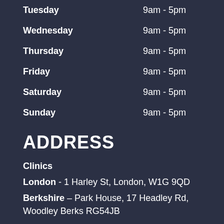Tuesday    9am - 5pm
Wednesday    9am - 5pm
Thursday    9am - 5pm
Friday    9am - 5pm
Saturday    9am - 5pm
Sunday    9am - 5pm
ADDRESS
Clinics
London - 1 Harley St, London, W1G 9QD
Berkshire – Park House, 17 Headley Rd, Woodley Berks RG54JB
GET SOCIAL